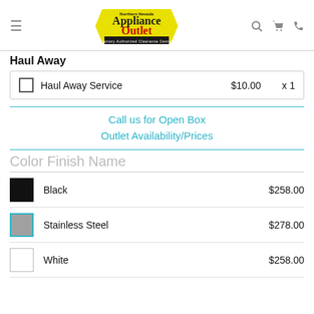[Figure (logo): Northern Nevada Appliance Outlet logo — yellow hexagon badge with 'Appliance Outlet' text and 'Factory Authorized Clearance Center' banner]
Haul Away
|  | Service | Price | Qty |
| --- | --- | --- | --- |
| ☐ | Haul Away Service | $10.00 | x 1 |
Call us for Open Box Outlet Availability/Prices
Color Finish Name
Black  $258.00
Stainless Steel  $278.00
White  $258.00